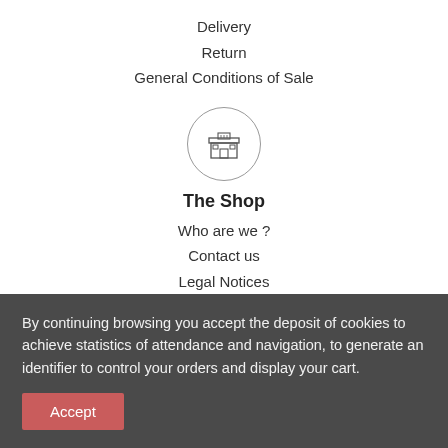Delivery
Return
General Conditions of Sale
[Figure (illustration): A circular icon containing a pixel-art style shop/store building]
The Shop
Who are we ?
Contact us
Legal Notices
NEWSLETTER
Be aware of news
By continuing browsing you accept the deposit of cookies to achieve statistics of attendance and navigation, to generate an identifier to control your orders and display your cart.
Accept